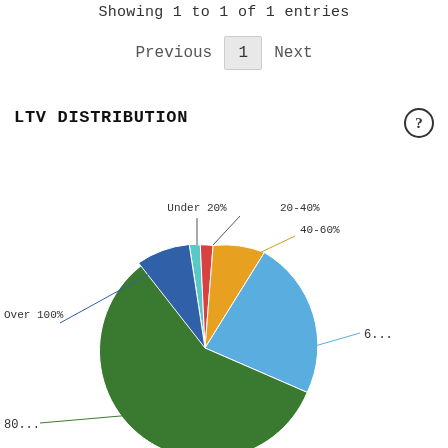Showing 1 to 1 of 1 entries
Previous  1  Next
LTV DISTRIBUTION
[Figure (pie-chart): LTV DISTRIBUTION]